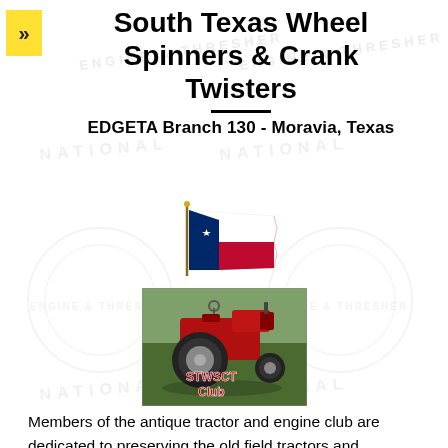South Texas Wheel Spinners & Crank Twisters
EDGETA Branch 130 - Moravia, Texas
[Figure (illustration): Texas state flag waving on a pole, with blue, white, and red sections and a white star]
[Figure (photo): Photo of a red antique tractor on green grass with text overlay reading 'STWSCT Club' in red]
Members of the antique tractor and engine club are dedicated to preserving the old field tractors and engines. The club sponsors tractor